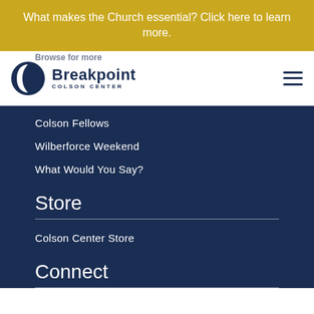What makes the Church essential? Click here to learn more.
[Figure (logo): Breakpoint Colson Center logo with circular icon and text]
Colson Fellows
Wilberforce Weekend
What Would You Say?
Store
Colson Center Store
Connect